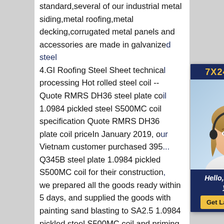standard,several of our industrial metal siding,metal roofing,metal decking,corrugated metal panels and accessories are made in galvanized steel. 4.GI Roofing Steel Sheet technical processing Hot rolled steel coil -- Quote RMRS DH36 steel plate coil 1.0984 pickled steel S500MC coil specification Quote RMRS DH36 plate coil priceIn January 2019, our Vietnam customer purchased 395 Q345B steel plate 1.0984 pickled S500MC coil for their construction, we prepared all the goods ready within 5 days, and supplied the goods with painting sand blasting to SA2.5 1.0984 pickled steel S500MC coil and priming gray oxide primer, and arrange shipment in time. 1.0984 pickled steel S500MC coil
[Figure (other): Chat widget with '7X24 Online' header in dark blue/gold, photo of a smiling woman with headset, and 'Hello, may I help you?' message with 'Get Latest Price' yellow button]